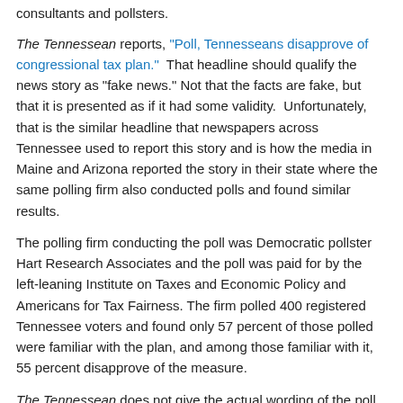consultants and pollsters.
The Tennessean reports, "Poll, Tennesseans disapprove of congressional tax plan."  That headline should qualify the news story as "fake news." Not that the facts are fake, but that it is presented as if it had some validity.  Unfortunately, that is the similar headline that newspapers across Tennessee used to report this story and is how the media in Maine and Arizona reported the story in their state where the same polling firm also conducted polls and found similar results.
The polling firm conducting the poll was Democratic pollster Hart Research Associates and the poll was paid for by the left-leaning Institute on Taxes and Economic Policy and Americans for Tax Fairness. The firm polled 400 registered Tennessee voters and found only 57 percent of those polled were familiar with the plan, and among those familiar with it, 55 percent disapprove of the measure.
The Tennessean does not give the actual wording of the poll, but this quote from the article is revealing: "The poll takes as fact the plan will cause (insurance) premiums to increase: